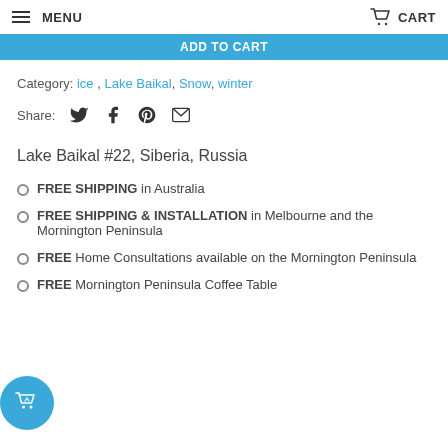MENU   CART
ADD TO CART
Category: ice, Lake Baikal, Snow, winter
Share:
Lake Baikal #22, Siberia, Russia
FREE SHIPPING in Australia
FREE SHIPPING & INSTALLATION in Melbourne and the Mornington Peninsula
FREE Home Consultations available on the Mornington Peninsula
FREE Mornington Peninsula Coffee Table